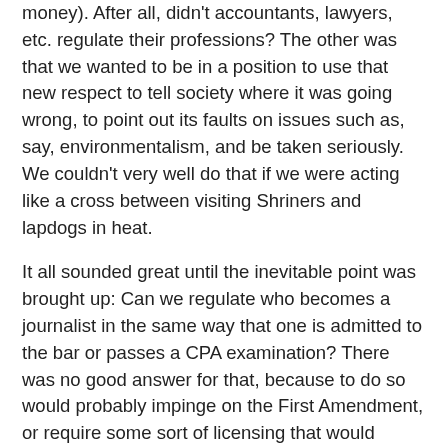money). After all, didn't accountants, lawyers, etc. regulate their professions? The other was that we wanted to be in a position to use that new respect to tell society where it was going wrong, to point out its faults on issues such as, say, environmentalism, and be taken seriously. We couldn't very well do that if we were acting like a cross between visiting Shriners and lapdogs in heat.
It all sounded great until the inevitable point was brought up: Can we regulate who becomes a journalist in the same way that one is admitted to the bar or passes a CPA examination? There was no good answer for that, because to do so would probably impinge on the First Amendment, or require some sort of licensing that would restrict who could be published in a newspaper, which seemed kind of antidemocratic. (In that pre-Internet day, it did seem possible, though.)
We did come up eventually in the business with a sort of definition, which was: Someone whom most other professional journalists would acknowledge as a professional journalist. That led us to be able to stretch the boundaries